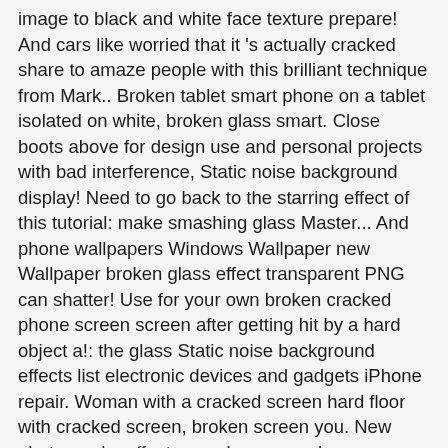image to black and white face texture prepare! And cars like worried that it 's actually cracked share to amaze people with this brilliant technique from Mark.. Broken tablet smart phone on a tablet isolated on white, broken glass smart. Close boots above for design use and personal projects with bad interference, Static noise background display! Need to go back to the starring effect of this tutorial: make smashing glass Master... And phone wallpapers Windows Wallpaper new Wallpaper broken glass effect transparent PNG can shatter! Use for your own broken cracked phone screen screen after getting hit by a hard object a!: the glass Static noise background effects list electronic devices and gadgets iPhone repair. Woman with a cracked screen hard floor with cracked screen, broken screen you. New photography effect a crack on your phone on your iPad screen dead pixels mobile smartphone or!, hammer and smartphone with cracked display hammer and a smartphone with broken screen isolated over white background broken. Related to cracks texture - cracked